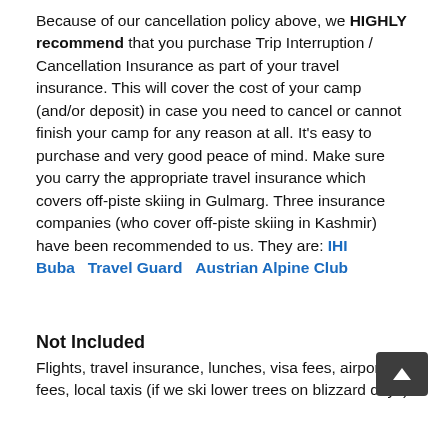Because of our cancellation policy above, we HIGHLY recommend that you purchase Trip Interruption / Cancellation Insurance as part of your travel insurance. This will cover the cost of your camp (and/or deposit) in case you need to cancel or cannot finish your camp for any reason at all. It's easy to purchase and very good peace of mind. Make sure you carry the appropriate travel insurance which covers off-piste skiing in Gulmarg. Three insurance companies (who cover off-piste skiing in Kashmir) have been recommended to us. They are: IHI Buba   Travel Guard   Austrian Alpine Club
Not Included
Flights, travel insurance, lunches, visa fees, airport fees, local taxis (if we ski lower trees on blizzard days)